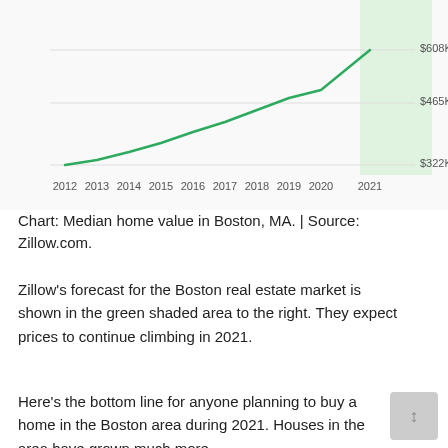[Figure (line-chart): Median home value in Boston, MA]
Chart: Median home value in Boston, MA. | Source: Zillow.com.
Zillow's forecast for the Boston real estate market is shown in the green shaded area to the right. They expect prices to continue climbing in 2021.
Here's the bottom line for anyone planning to buy a home in the Boston area during 2021. Houses in the area have grown much more